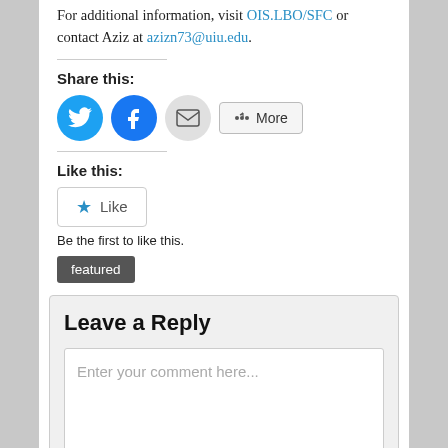For additional information, visit OIS.LBO/SFC or contact Aziz at azizn73@uiu.edu.
Share this:
[Figure (infographic): Share buttons: Twitter (blue circle), Facebook (blue circle), Email (gray circle), and More button]
Like this:
[Figure (infographic): Like button with blue star icon]
Be the first to like this.
featured
Leave a Reply
Enter your comment here...